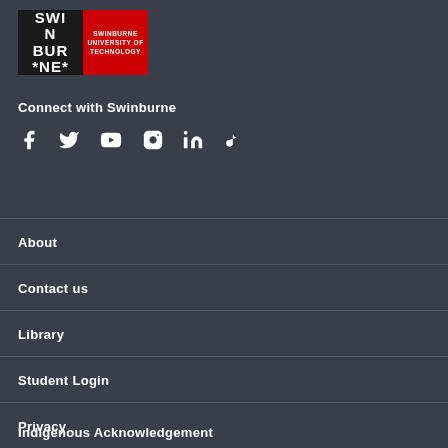[Figure (logo): Swinburne University of Technology logo with black left panel showing SWINBURNE in large text and red right panel showing SWINBURNE UNIVERSITY OF TECHNOLOGY text]
Connect with Swinburne
[Figure (infographic): Social media icons: Facebook, Twitter, YouTube, Instagram, LinkedIn, TikTok]
About
Contact us
Library
Student Login
Privacy
Indigenous Acknowledgement